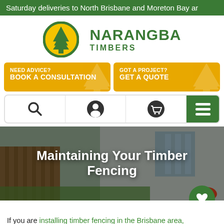Saturday deliveries to North Brisbane and Moreton Bay ar
[Figure (logo): Narangba Timbers logo: green circle with white pine tree icon, beside bold green text 'NARANGBA TIMBERS']
NEED ADVICE? BOOK A CONSULTATION
GOT A PROJECT? GET A QUOTE
[Figure (screenshot): Navigation bar with search, user account, shopping cart, and hamburger menu icons]
[Figure (photo): Hero image showing a modern house with timber fence and landscaped garden, with overlay text 'Maintaining Your Timber Fencing']
Maintaining Your Timber Fencing
If you are installing timber fencing in the Brisbane area,